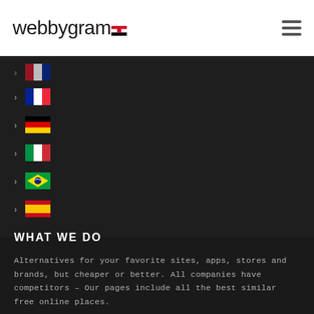webbygram [Egyptian flag logo]
› [French flag]
› [German flag]
› [Italian flag]
› [Brazilian flag]
› [Spanish flag]
WHAT WE DO
Alternatives for your favorite sites, apps, stores and brands, but cheaper or better. All companies have competitors – Our pages include all the best similar free online places.
Available for Windows, Mac, Android, iPhone and more.